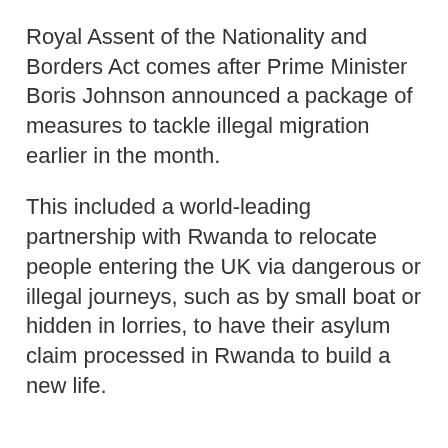Royal Assent of the Nationality and Borders Act comes after Prime Minister Boris Johnson announced a package of measures to tackle illegal migration earlier in the month.
This included a world-leading partnership with Rwanda to relocate people entering the UK via dangerous or illegal journeys, such as by small boat or hidden in lorries, to have their asylum claim processed in Rwanda to build a new life.
/Public Release. This material from the originating organization/author(s) may be of a point-in-time nature, edited for clarity, style and length. The views and opinions